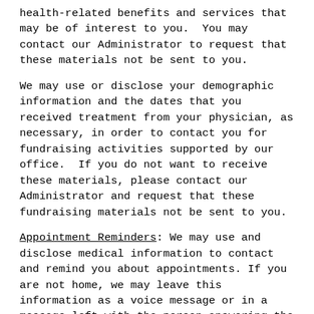health-related benefits and services that may be of interest to you.  You may contact our Administrator to request that these materials not be sent to you.
We may use or disclose your demographic information and the dates that you received treatment from your physician, as necessary, in order to contact you for fundraising activities supported by our office.  If you do not want to receive these materials, please contact our Administrator and request that these fundraising materials not be sent to you.
Appointment Reminders: We may use and disclose medical information to contact and remind you about appointments. If you are not home, we may leave this information as a voice message or in a message left with the person answering the phone.
Other Permitted and Required Uses and Disclosures That May Be Made Without Your Authorization or